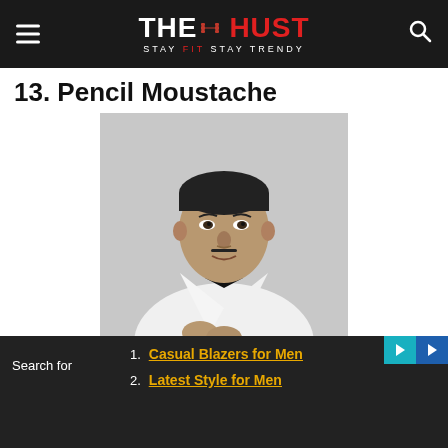THE HUST — STAY FIT STAY TRENDY
13. Pencil Moustache
[Figure (photo): Black and white portrait photo of a man with a pencil moustache wearing a white tuxedo jacket and bow tie, hands clasped in front]
1. Casual Blazers for Men
2. Latest Style for Men